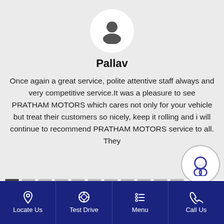[Figure (illustration): Circular avatar with generic person silhouette icon on white circle background]
Pallav
Once again a great service, polite attentive staff always and very competitive service.It was a pleasure to see PRATHAM MOTORS which cares not only for your vehicle but treat their customers so nicely, keep it rolling and i will continue to recommend PRATHAM MOTORS service to all. They
[Figure (other): Horizontal row of dashed/short line segment dots used as a page indicator or slider]
[Figure (other): Circular chat/headset support button icon]
[Figure (other): Dark blue circular clipboard/edit button icon]
Locate Us   Test Drive   Menu   Call Us